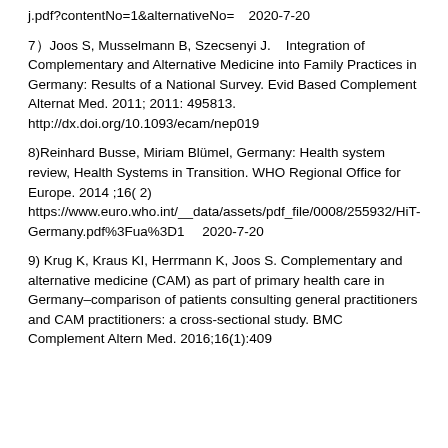j.pdf?contentNo=1&alternativeNo=2020-7-20
7）Joos S, Musselmann B, Szecsenyi J.    Integration of Complementary and Alternative Medicine into Family Practices in Germany: Results of a National Survey. Evid Based Complement Alternat Med. 2011; 2011: 495813. http://dx.doi.org/10.1093/ecam/nep019
8)Reinhard Busse, Miriam Blümel, Germany: Health system review, Health Systems in Transition. WHO Regional Office for Europe. 2014 ;16( 2) https://www.euro.who.int/__data/assets/pdf_file/0008/255932/HiT-Germany.pdf%3Fua%3D1 2020-7-20
9) Krug K, Kraus KI, Herrmann K, Joos S. Complementary and alternative medicine (CAM) as part of primary health care in Germany–comparison of patients consulting general practitioners and CAM practitioners: a cross-sectional study. BMC Complement Altern Med. 2016;16(1):409